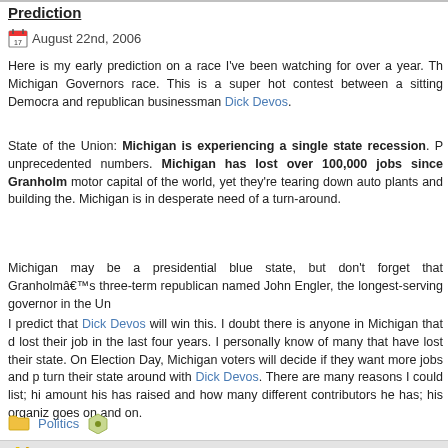Prediction
August 22nd, 2006
Here is my early prediction on a race I've been watching for over a year. The Michigan Governors race. This is a super hot contest between a sitting Democrat and republican businessman Dick Devos.
State of the Union: Michigan is experiencing a single state recession. People leaving in unprecedented numbers. Michigan has lost over 100,000 jobs since Granholm took office. Detroit was the motor capital of the world, yet they're tearing down auto plants and building the... Michigan is in desperate need of a turn-around.
Michigan may be a presidential blue state, but don't forget that Granholm's predecessor was a three-term republican named John Engler, the longest-serving governor in the Un...
I predict that Dick Devos will win this. I doubt there is anyone in Michigan that doesn't know someone who lost their job in the last four years. I personally know of many that have lost their jobs and left the state. On Election Day, Michigan voters will decide if they want more jobs and p... turn their state around with Dick Devos. There are many reasons I could list; hi... amount his has raised and how many different contributors he has; his organiz... goes on and on.
Politics
Copyright © 2005-2011 Ben Farmer modified by cyragon design. Valid XHTML 1.1 and CSS 3.